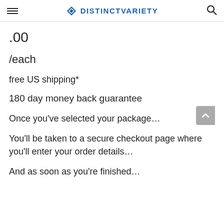DISTINCTVARIETY
.00
/each
free US shipping*
180 day money back guarantee
Once you've selected your package…
You'll be taken to a secure checkout page where you'll enter your order details…
And as soon as you're finished…